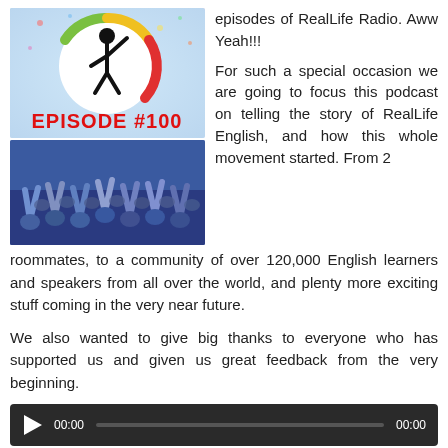[Figure (illustration): Episode #100 podcast cover image showing a logo with a person raising arms inside a colorful circle, with red bold text 'EPISODE #100', and below a crowd of people with hands raised at what appears to be a festival or celebration.]
episodes of RealLife Radio. Aww Yeah!!!
For such a special occasion we are going to focus this podcast on telling the story of RealLife English, and how this whole movement started. From 2 roommates, to a community of over 120,000 English learners and speakers from all over the world, and plenty more exciting stuff coming in the very near future.
We also wanted to give big thanks to everyone who has supported us and given us great feedback from the very beginning.
[Figure (other): Audio player with play button, timestamp 00:00, progress bar, and end time 00:00 on dark background.]